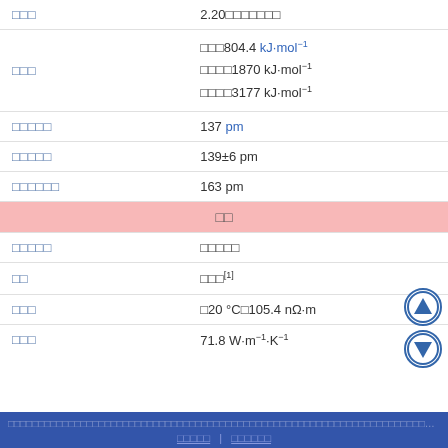| Property | Value |
| --- | --- |
| □□□ | 2.20□□□□□□□ |
| □□□ | □□□804.4 kJ·mol⁻¹
□□□□1870 kJ·mol⁻¹
□□□□3177 kJ·mol⁻¹ |
| □□□□□ | 137 pm |
| □□□□□ | 139±6 pm |
| □□□□□□ | 163 pm |
| □□ (section header) |  |
| □□□□□ | □□□□□ |
| □□ | □□□[1] |
| □□□ | □20 °C□105.4 nΩ·m |
| □□□ | 71.8 W·m⁻¹·K⁻¹ |
□□□□□□□□□□□□□□□□□□□□□□□□□□□□□□□□□□□□□□□□□□□□□□□□□□□□□□□□□□□□□□□□□□□□□□□□□□□□□□□□□□□□□□□□□□□□□□□□□□□□□□□ | □□□□□□